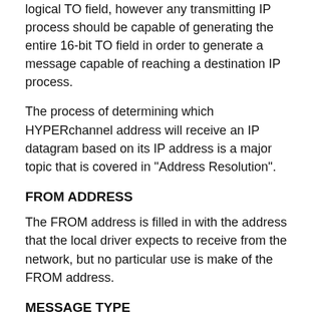logical TO field, however any transmitting IP process should be capable of generating the entire 16-bit TO field in order to generate a message capable of reaching a destination IP process.
The process of determining which HYPERchannel address will receive an IP datagram based on its IP address is a major topic that is covered in "Address Resolution".
FROM ADDRESS
The FROM address is filled in with the address that the local driver expects to receive from the network, but no particular use is make of the FROM address.
MESSAGE TYPE
Network Systems requests that a value of 5 (decimal) be placed in this byte to uniquely indicate that the network message is being used to carry IP traffic. No other well-behaved protocol using HYPERchannel should duplicate this value of 5.